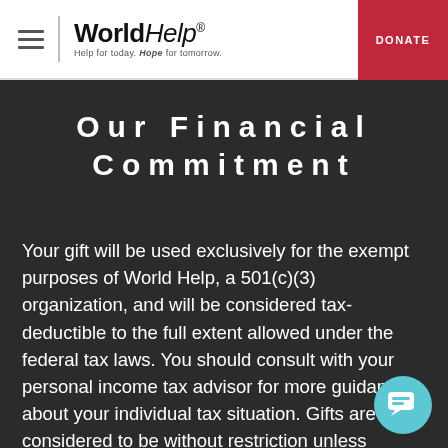World Help — Help for today. Hope for tomorrow. | DONATE
Our Financial Commitment
Your gift will be used exclusively for the exempt purposes of World Help, a 501(c)(3) organization, and will be considered tax-deductible to the full extent allowed under the federal tax laws. You should consult with your personal income tax advisor for more guidance about your individual tax situation. Gifts are considered to be without restriction unless explicitly stipulated by the donor. All restricted gifts